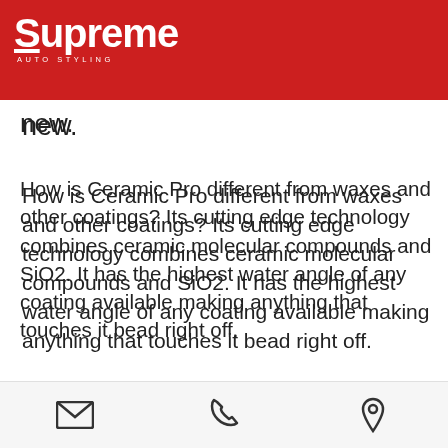Supreme Auto Styling
duct and new.
How is Ceramic Pro different from waxes and other coatings? Its cutting edge technology combines ceramic molecular compounds and SiO2. It has the highest water angle of any coating available making anything that touches it bead right off.
9H
The 9H coating offers a permanent nanoceramic protection against minor scratches, swirl marks, graffiti, dust & dirt,
Email | Phone | Location icons